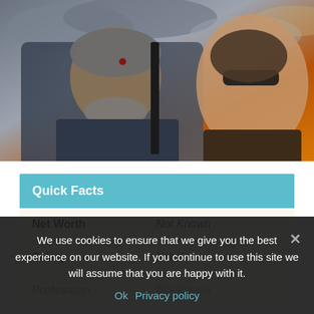[Figure (photo): Movie promotional photo showing two actors — a man with grey hair and beard holding a weapon on the left, and a woman wearing sunglasses on the right, against a dramatic cloudy sky background (Terminator: Dark Fate style)]
|  |  |
| --- | --- |
| Net Worth | Not Known |
| Salary | Not Known |
| Profession | Not Known |
We use cookies to ensure that we give you the best experience on our website. If you continue to use this site we will assume that you are happy with it.
Ok   Privacy policy